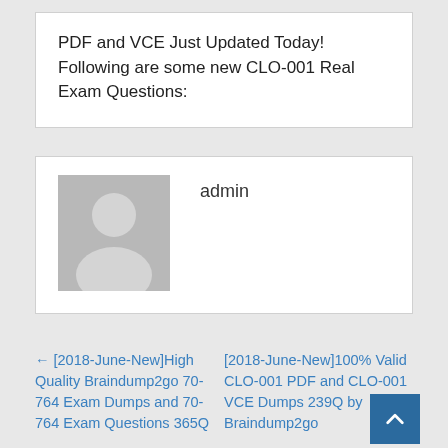PDF and VCE Just Updated Today! Following are some new CLO-001 Real Exam Questions:
[Figure (illustration): Default avatar placeholder image showing a silhouette of a person (head and shoulders) on a grey background]
admin
← [2018-June-New]High Quality Braindump2go 70-764 Exam Dumps and 70-764 Exam Questions 365Q
[2018-June-New]100% Valid CLO-001 PDF and CLO-001 VCE Dumps 239Q by Braindump2go